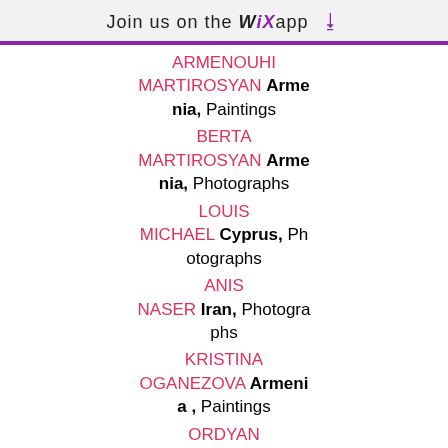Join us on the WiX app ↓
ARMENOUHI MARTIROSYAN Armenia, Paintings
BERTA MARTIROSYAN Armenia, Photographs
LOUIS MICHAEL Cyprus, Photographs
ANIS NASER Iran, Photographs
KRISTINA OGANEZOVA Armenia , Paintings
ORDYAN TEREZA Armenia , Paintings
ARAKS POGHOSYAN Armeni